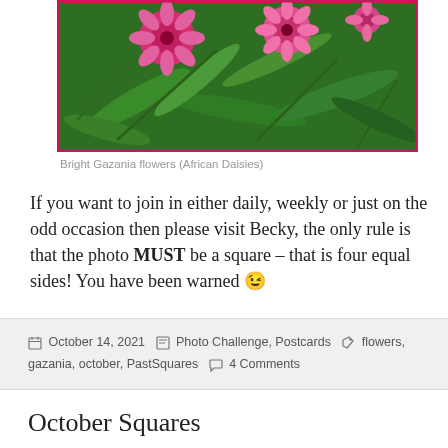[Figure (photo): Photograph of bright pink Gazania flowers (African Daisies) with green foliage, framed with a pink/crimson border]
Bright Gazania flowers (African Daisies)
If you want to join in either daily, weekly or just on the odd occasion then please visit Becky, the only rule is that the photo MUST be a square – that is four equal sides! You have been warned 😉
October 14, 2021  Photo Challenge, Postcards  flowers, gazania, october, PastSquares  4 Comments
October Squares
The October theme offers something for absolutely